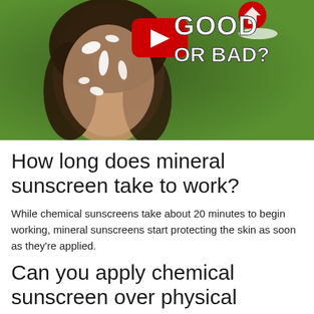[Figure (screenshot): YouTube video thumbnail showing a woman with white sunscreen patches on her face, with text 'GOOD OR BAD?' and the YouTube play button overlay, set against a green outdoor background.]
How long does mineral sunscreen take to work?
While chemical sunscreens take about 20 minutes to begin working, mineral sunscreens start protecting the skin as soon as they're applied.
Can you apply chemical sunscreen over physical